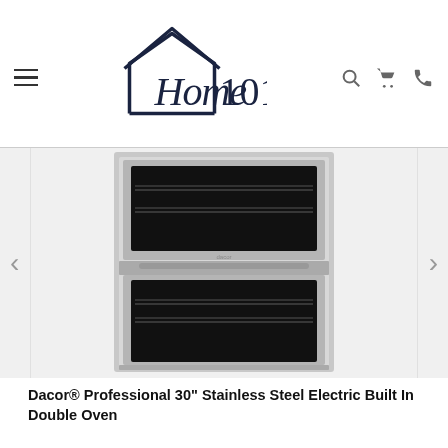Home 101
[Figure (photo): Dacor stainless steel electric built-in double oven product photo]
Dacor® Professional 30" Stainless Steel Electric Built In Double Oven